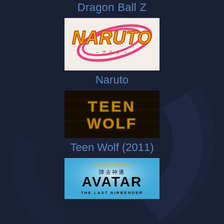Dragon Ball Z
[Figure (logo): Naruto anime logo - orange stylized text 'NARUTO' with pink swirl, Japanese characters below, on white/checkered background]
Naruto
[Figure (logo): Teen Wolf (2011) TV show logo - gold/metallic text 'TEEN WOLF' on dark textured background]
Teen Wolf (2011)
[Figure (logo): Avatar: The Last Airbender logo - Nickelodeon branding, Chinese characters, 'AVATAR THE LAST AIRBENDER' text on blue background with light rays]